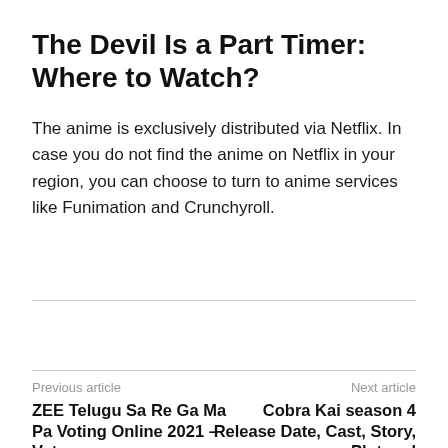The Devil Is a Part Timer: Where to Watch?
The anime is exclusively distributed via Netflix. In case you do not find the anime on Netflix in your region, you can choose to turn to anime services like Funimation and Crunchyroll.
Previous article
Next article
ZEE Telugu Sa Re Ga Ma Pa Voting Online 2021 – Vote
Cobra Kai season 4 Release Date, Cast, Story, Plot and